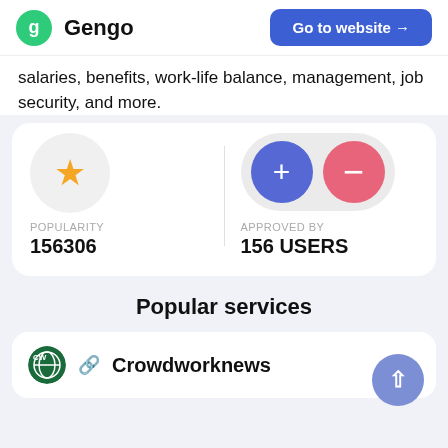Gengo — Go to website →
salaries, benefits, work-life balance, management, job security, and more.
[Figure (infographic): Popularity stat with star icon: 156306, and Approved By stat with plus/minus buttons: 156 USERS]
Popular services
Crowdworknews